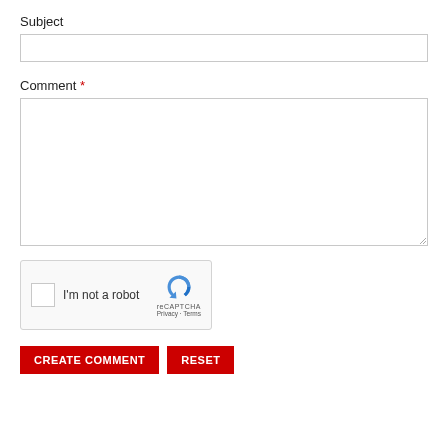Subject
[Figure (screenshot): Empty text input field for Subject]
Comment *
[Figure (screenshot): Large empty textarea field for Comment with resize handle]
[Figure (screenshot): reCAPTCHA widget with checkbox labeled I'm not a robot, reCAPTCHA logo, Privacy and Terms links]
CREATE COMMENT
RESET